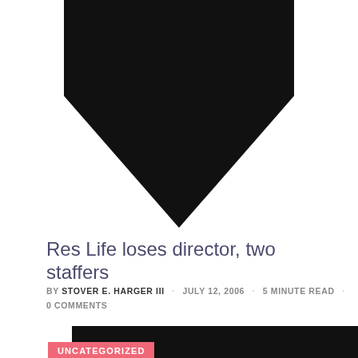[Figure (illustration): Top portion of a black shield/crest shape on white background, showing the bottom pointed tip of the shield]
Res Life loses director, two staffers
by STOVER E. HARGER III · JULY 12, 2006 · 5 MINUTE READ · 0 COMMENTS
[Figure (logo): Black shield/crest logo with white letters 'VG' partially visible, with a pink 'UNCATEGORIZED' label overlaid]
UNCATEGORIZED